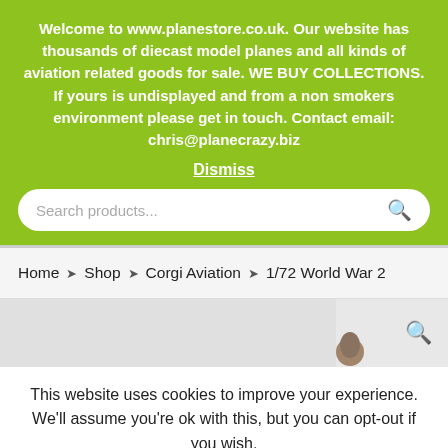Welcome to www.planestore.co.uk. Our website has thousands of diecast model planes and all kinds of aviation related goods for sale. WE BUY COLLECTIONS. If yours is undisplayed and from a non smokers environment please get in touch. Contact email: chris@planecrazy.biz
Dismiss
[Figure (screenshot): Search products input bar with search icon]
Home > Shop > Corgi Aviation > 1/72 World War 2
[Figure (photo): Partial product image area showing a model plane and a zoom/search icon]
This website uses cookies to improve your experience. We'll assume you're ok with this, but you can opt-out if you wish.
Accept   Read More